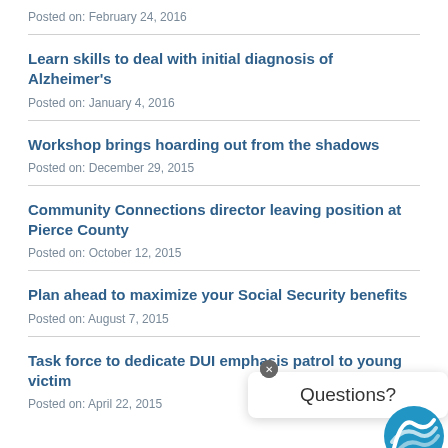Posted on: February 24, 2016
Learn skills to deal with initial diagnosis of Alzheimer's
Posted on: January 4, 2016
Workshop brings hoarding out from the shadows
Posted on: December 29, 2015
Community Connections director leaving position at Pierce County
Posted on: October 12, 2015
Plan ahead to maximize your Social Security benefits
Posted on: August 7, 2015
Task force to dedicate DUI emphasis patrol to young victim
Posted on: April 22, 2015
[Figure (other): Questions? chat popup with close button and blue logo icon]